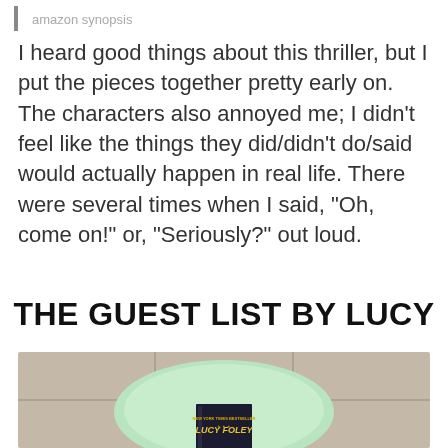amazon synopsis
I heard good things about this thriller, but I put the pieces together pretty early on. The characters also annoyed me; I didn't feel like the things they did/didn't do/said would actually happen in real life. There were several times when I said, “Oh, come on!” or, “Seriously?” out loud.
THE GUEST LIST BY LUCY
[Figure (photo): Photo of a book (The Guest List by Lucy Foley) placed on a light green/mint round plate or tray, set on a tiled surface with light beige/grey square tiles.]